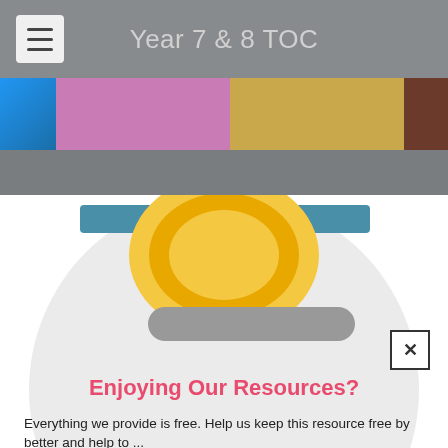Year 7 & 8 TOC
[Figure (illustration): A stylized illustration showing a flat-design piggy bank or savings icon: a large light-gray circle with a teal horizontal bar near the top, a yellow circular disc/coin in the center, and a gray rounded rectangle bar below the coin. The image is partially visible, cropped from the middle downward.]
Enjoying Our Resources?
Everything we provide is free. Help us keep this resource free by better and help to ...